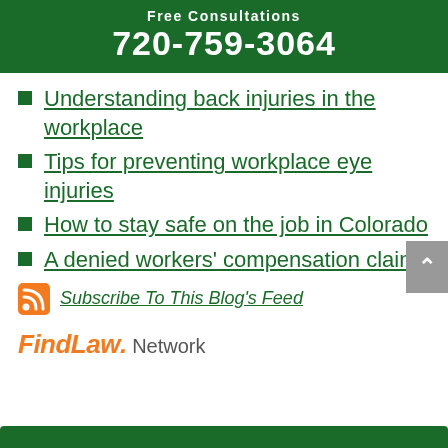Free Consultations
720-759-3064
Understanding back injuries in the workplace
Tips for preventing workplace eye injuries
How to stay safe on the job in Colorado
A denied workers' compensation claim
Subscribe To This Blog's Feed
FindLaw. Network